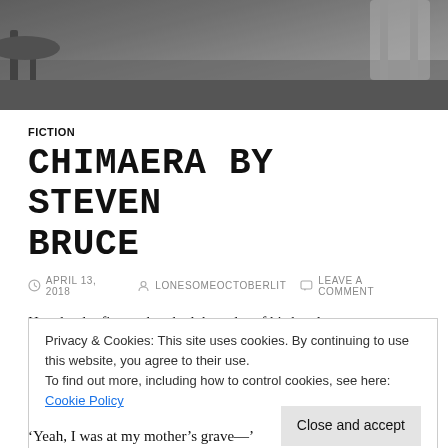[Figure (photo): Black and white photograph of an interior room with chairs and wooden floor, partially visible.]
FICTION
CHIMAERA BY STEVEN BRUCE
APRIL 13, 2018   LONESOMEOCTOBERLIT   LEAVE A COMMENT
Her slender fingers brushed the palm of his hand.
‘Your hands are rough,’ she said, kissing them.
‘Oh, thanks,’ he said.
Privacy & Cookies: This site uses cookies. By continuing to use this website, you agree to their use.
To find out more, including how to control cookies, see here: Cookie Policy
‘Yeah, I was at my mother’s grave—’